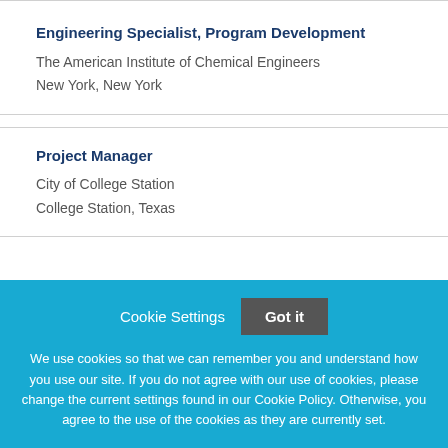Engineering Specialist, Program Development
The American Institute of Chemical Engineers
New York, New York
Project Manager
City of College Station
College Station, Texas
Cookie Settings   Got it

We use cookies so that we can remember you and understand how you use our site. If you do not agree with our use of cookies, please change the current settings found in our Cookie Policy. Otherwise, you agree to the use of the cookies as they are currently set.